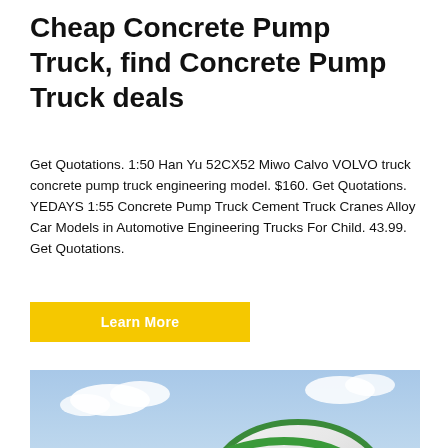Cheap Concrete Pump Truck, find Concrete Pump Truck deals
Get Quotations. 1:50 Han Yu 52CX52 Miwo Calvo VOLVO truck concrete pump truck engineering model. $160. Get Quotations. YEDAYS 1:55 Concrete Pump Truck Cement Truck Cranes Alloy Car Models in Automotive Engineering Trucks For Child. 43.99. Get Quotations.
Learn More
[Figure (photo): A green and white concrete mixer truck (self-loading type) photographed outdoors in a sandy/gravelly work site with a blue sky and white clouds in the background. The truck has a large rotating drum with green accents and the number 6.5 visible on the side.]